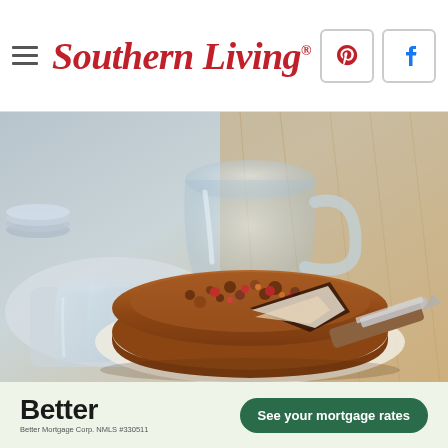Southern Living
[Figure (photo): A round coffee cake with a crumble topping and fruit filling, with one slice removed, served on parchment paper. A knife with a wooden handle rests beside it. In the background are glass cups, a glass pitcher/jug, a stack of plates, and a folded white napkin on a wooden table surface.]
[Figure (other): Advertisement banner for Better Mortgage. Shows the word 'Better' in large bold black text, with 'Better Mortgage Corp. NMLS #330511' in small text below, and a dark green rounded button reading 'See your mortgage rates'.]